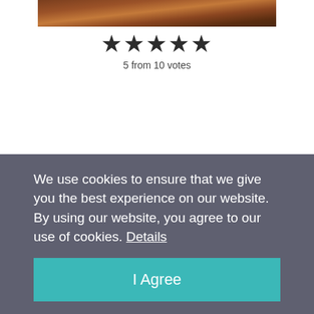[Figure (photo): Partial photo of food items (appears to be chocolate cookies or similar baked goods) cropped at the top of the page]
★★★★★
5 from 10 votes
We use cookies to ensure that we give you the best experience on our website. By using our website, you agree to our use of cookies. Details
I Agree